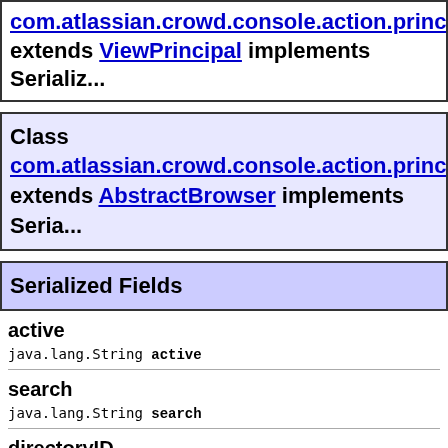com.atlassian.crowd.console.action.principal... extends ViewPrincipal implements Serializ...
Class com.atlassian.crowd.console.action.princip... extends AbstractBrowser implements Seria...
Serialized Fields
active
java.lang.String active
search
java.lang.String search
directoryID